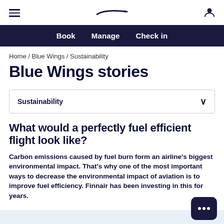Finnair navigation header with hamburger menu, Finnair logo, and user icon
Book   Manage   Check in
Home / Blue Wings / Sustainability
Blue Wings stories
Sustainability
What would a perfectly fuel efficient flight look like?
Carbon emissions caused by fuel burn form an airline's biggest environmental impact. That's why one of the most important ways to decrease the environmental impact of aviation is to improve fuel efficiency. Finnair has been investing in this for years.